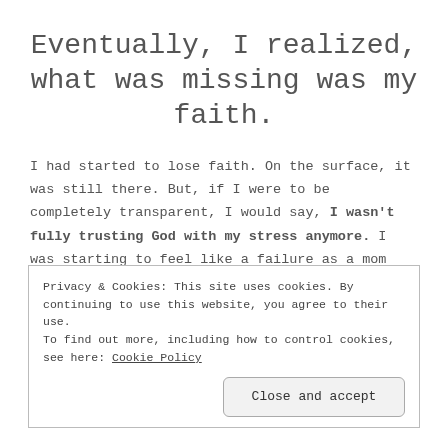Eventually, I realized, what was missing was my faith.
I had started to lose faith. On the surface, it was still there. But, if I were to be completely transparent, I would say, I wasn't fully trusting God with my stress anymore. I was starting to feel like a failure as a mom because I was so tired all of the time. My patience had been worn down
Privacy & Cookies: This site uses cookies. By continuing to use this website, you agree to their use.
To find out more, including how to control cookies, see here: Cookie Policy

Close and accept